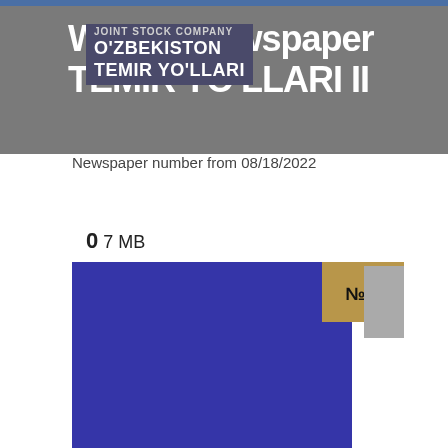Weekly newspaper TEMIR YO'LLARI II
JOINT STOCK COMPANY O'ZBEKISTON TEMIR YO'LLARI
Newspaper number from 08/18/2022
0 7 MB
[Figure (other): Blue rectangular cover image with issue badge №2 in tan/brown color in top right corner]